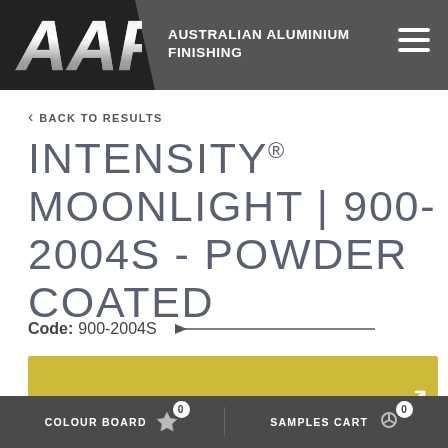[Figure (logo): AAF Australian Aluminium Finishing logo with silver AAF letters on dark background header bar with hamburger menu]
< BACK TO RESULTS
INTENSITY® MOONLIGHT | 900-2004S - POWDER COATED
Code: 900-2004S
[Figure (illustration): Golden/yellow colour swatch panel with expand icon in bottom right]
COLOUR BOARD 0   SAMPLES CART 0